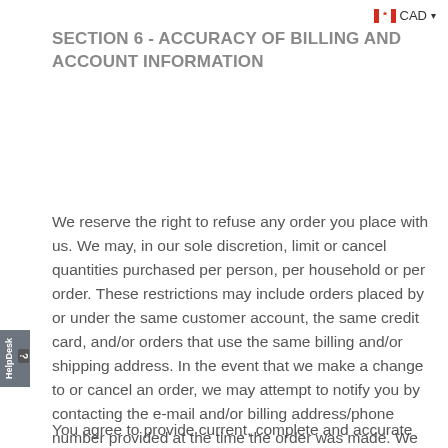CAD
SECTION 6 - ACCURACY OF BILLING AND ACCOUNT INFORMATION
We reserve the right to refuse any order you place with us. We may, in our sole discretion, limit or cancel quantities purchased per person, per household or per order. These restrictions may include orders placed by or under the same customer account, the same credit card, and/or orders that use the same billing and/or shipping address. In the event that we make a change to or cancel an order, we may attempt to notify you by contacting the e-mail and/or billing address/phone number provided at the time the order was made. We reserve the right to limit or prohibit orders that, in our sole judgment, appear to be placed by dealers, resellers or distributors.
You agree to provide current, complete and accurate